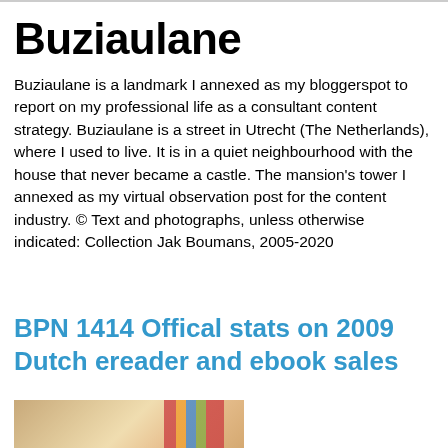Buziaulane
Buziaulane is a landmark I annexed as my bloggerspot to report on my professional life as a consultant content strategy. Buziaulane is a street in Utrecht (The Netherlands), where I used to live. It is in a quiet neighbourhood with the house that never became a castle. The mansion's tower I annexed as my virtual observation post for the content industry. © Text and photographs, unless otherwise indicated: Collection Jak Boumans, 2005-2020
Wednesday, December 30, 2009
BPN 1414 Offical stats on 2009 Dutch ereader and ebook sales
[Figure (photo): Photo of a woman with blonde hair looking down, with colorful books visible in the background]